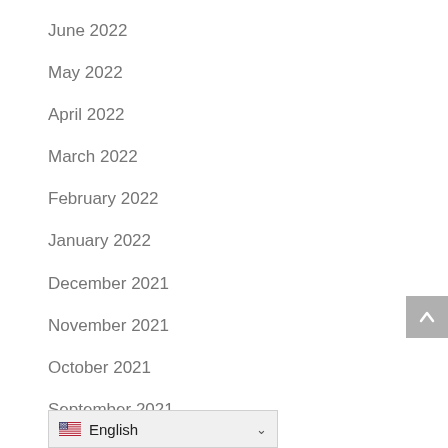June 2022
May 2022
April 2022
March 2022
February 2022
January 2022
December 2021
November 2021
October 2021
September 2021
August 2021
July 2021
June 2021
English